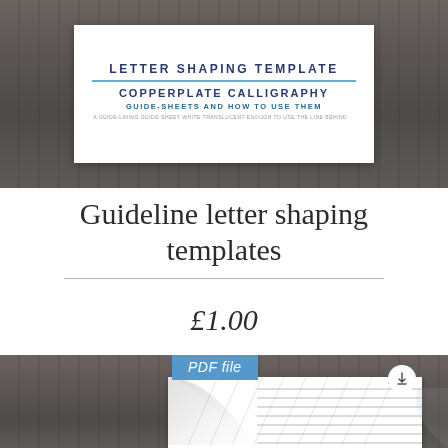[Figure (photo): Top product image showing a 'Letter Shaping Template - Copperplate Calligraphy Guide-Sheets and How to Use Them' document on a dark wood background]
Guideline letter shaping templates
£1.00
[Figure (photo): Bottom product image showing a PDF file badge and a preview of the guideline letter shaping template with horizontal lines on a dark wood background]